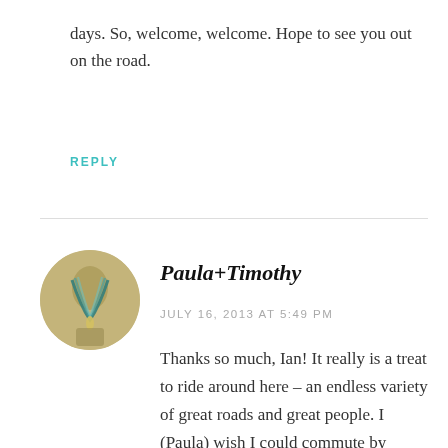days. So, welcome, welcome. Hope to see you out on the road.
REPLY
[Figure (photo): Circular avatar photo of a necklace on a mannequin bust with beige/gold background]
Paula+Timothy
JULY 16, 2013 AT 5:49 PM
Thanks so much, Ian! It really is a treat to ride around here – an endless variety of great roads and great people. I (Paula) wish I could commute by bike/bus too; that had been my plan when we moved here. But the timing just doesn't work out as I need to juggle morning conference